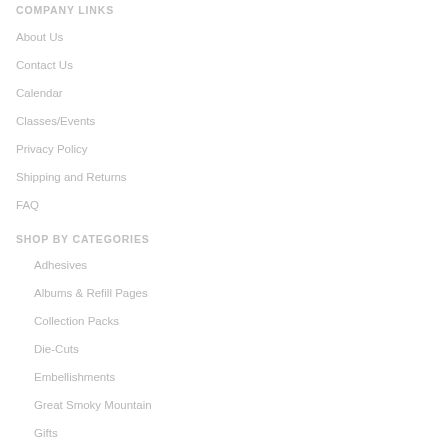COMPANY LINKS
About Us
Contact Us
Calendar
Classes/Events
Privacy Policy
Shipping and Returns
FAQ
SHOP BY CATEGORIES
Adhesives
Albums & Refill Pages
Collection Packs
Die-Cuts
Embellishments
Great Smoky Mountain
Gifts
Mediums
Overlays
Paper